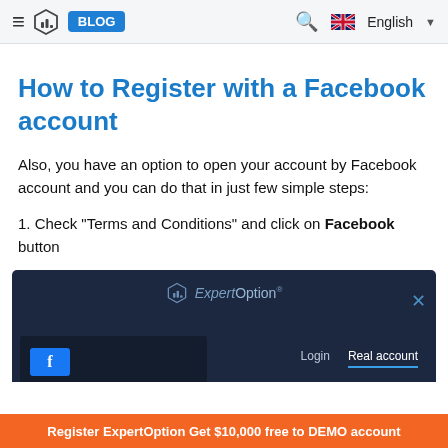≡ [ExpertOption logo] BLOG  🔍  🇬🇧 English ▼
How to Register with a Facebook account
Also, you have an option to open your account by Facebook account and you can do that in just few simple steps:
1. Check "Terms and Conditions" and click on Facebook button
[Figure (screenshot): ExpertOption registration dialog screenshot showing Login and Real account tabs on a dark background]
Register ExpertOption Get $10,000 free to DEMO account